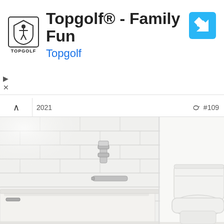[Figure (screenshot): Topgolf advertisement banner with logo, title 'Topgolf® - Family Fun', subtitle 'Topgolf', and a blue navigation arrow icon on the right. Play and close controls visible on the left.]
2021  #109
[Figure (photo): Interior bathroom photo showing a white bathtub with chrome faucet fixtures and a toilet on the right side, white tile walls in the background.]